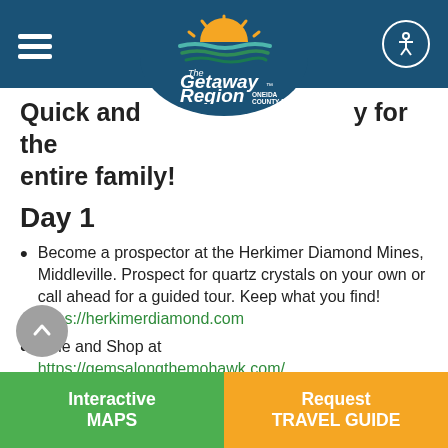[Figure (logo): The Getaway Region Oneida County NY logo with hamburger menu and accessibility button in a dark blue navigation bar]
Quick and easy for the entire family!
Day 1
Become a prospector at the Herkimer Diamond Mines, Middleville. Prospect for quartz crystals on your own or call ahead for a guided tour. Keep what you find! https://herkimerdiamond.com
Dine and Shop at https://gemsalongthemohawk.com/
Home of the famous Waterfront Grill and
Interactive MAPS | Request TRAVEL GUIDE